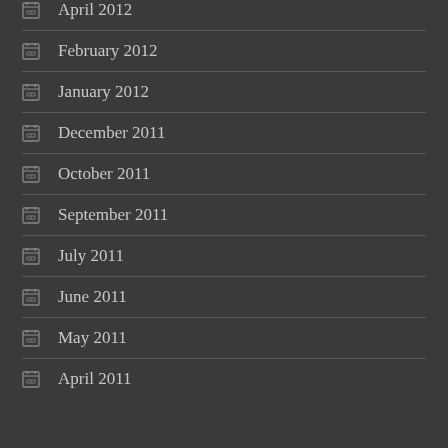April 2012
February 2012
January 2012
December 2011
October 2011
September 2011
July 2011
June 2011
May 2011
April 2011